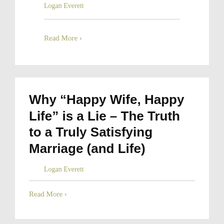Logan Everett
Read More >
Why “Happy Wife, Happy Life” is a Lie – The Truth to a Truly Satisfying Marriage (and Life)
Logan Everett
Read More >